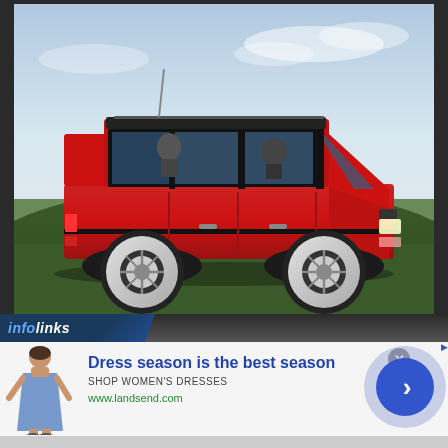[Figure (photo): Red Volvo 240 Wagon station wagon parked on a grassy hillside with a light blue sky background. Side profile view showing the classic boxy shape, white hub caps, and dark window trim. Two people visible through windows.]
Volvo 240 Wagon
[Figure (screenshot): Infolinks advertisement bar showing a Lands' End dress advertisement. Features a woman in a blue dress, headline 'Dress season is the best season', subtext 'SHOP WOMEN'S DRESSES', URL 'www.landsend.com', a close button (X), and a blue circular arrow/chevron button on the right.]